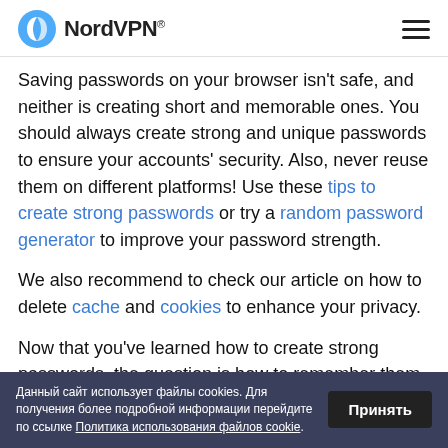NordVPN®
Saving passwords on your browser isn't safe, and neither is creating short and memorable ones. You should always create strong and unique passwords to ensure your accounts' security. Also, never reuse them on different platforms! Use these tips to create strong passwords or try a random password generator to improve your password strength.
We also recommend to check our article on how to delete cache and cookies to enhance your privacy.
Now that you've learned how to create strong passwords, the question is how to remember them
Данный сайт использует файлы cookies. Для получения более подробной информации перейдите по ссылке Политика использования файлов cookie. Принять